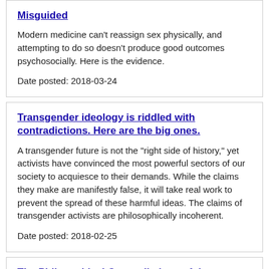Misguided
Modern medicine can't reassign sex physically, and attempting to do so doesn't produce good outcomes psychosocially. Here is the evidence.
Date posted: 2018-03-24
Transgender ideology is riddled with contradictions. Here are the big ones.
A transgender future is not the "right side of history," yet activists have convinced the most powerful sectors of our society to acquiesce to their demands. While the claims they make are manifestly false, it will take real work to prevent the spread of these harmful ideas. The claims of transgender activists are philosophically incoherent.
Date posted: 2018-02-25
The Philosophical Contradictions of the Transgender Worldview
The thinking of transgender activists is inherently confused and filled with internal contradictions. Activists never acknowledge those contradictions. Instead, they opportunistically rely on whichever claim